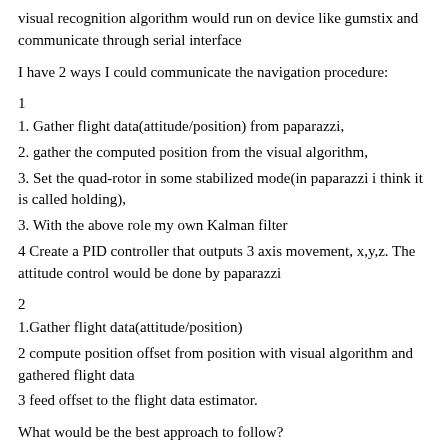visual recognition algorithm would run on device like gumstix and communicate through serial interface
I have 2 ways I could communicate the navigation procedure:
1
1. Gather flight data(attitude/position) from paparazzi,
2. gather the computed position from the visual algorithm,
3. Set the quad-rotor in some stabilized mode(in paparazzi i think it is called holding),
3. With the above role my own Kalman filter
4 Create a PID controller that outputs 3 axis movement, x,y,z. The attitude control would be done by paparazzi
2
1.Gather flight data(attitude/position)
2 compute position offset from position with visual algorithm and gathered flight data
3 feed offset to the flight data estimator.
What would be the best approach to follow?
Any of these 2 approaches require me to write an ivy parser. Unfortunately i had already started creating a c++ mavlink message library that would allow me to execute the navigation procedure of 1. I am shown at Paparazzi on the I are at to